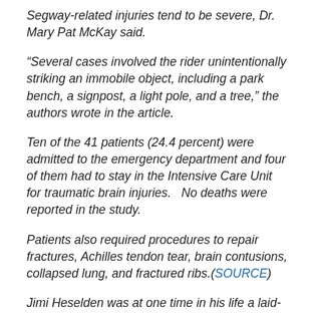Segway-related injuries tend to be severe, Dr. Mary Pat McKay said.
“Several cases involved the rider unintentionally striking an immobile object, including a park bench, a signpost, a light pole, and a tree,” the authors wrote in the article.
Ten of the 41 patients (24.4 percent) were admitted to the emergency department and four of them had to stay in the Intensive Care Unit for traumatic brain injuries.   No deaths were reported in the study.
Patients also required procedures to repair fractures, Achilles tendon tear, brain contusions, collapsed lung, and fractured ribs.(SOURCE)
Jimi Heselden was at one time in his life a laid-off coal